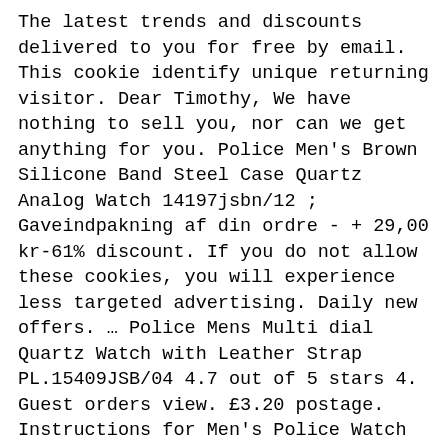The latest trends and discounts delivered to you for free by email. This cookie identify unique returning visitor. Dear Timothy, We have nothing to sell you, nor can we get anything for you. Police Men's Brown Silicone Band Steel Case Quartz Analog Watch 14197jsbn/12 ; Gaveindpakning af din ordre - + 29,00 kr-61% discount. If you do not allow these cookies, you will experience less targeted advertising. Daily new offers. … Police Mens Multi dial Quartz Watch with Leather Strap PL.15409JSB/04 4.7 out of 5 stars 4. Guest orders view. £3.20 postage. Instructions for Men's Police Watch 12898J (or similar). - Dubstep, Reggae, Drum Bass, Hip-Hop, Electronic, Breaks, Ska more. Part of the popularity of POLICE watches has always been the fantastic selection of styles that are available. All watch straps listed below are genuine Police watch strap replacements. Police watches are uniquely designed, and this design is carried over within the watch strap. If your Police watch strap or bracelet is not shown here please use our Contact Us form to let us know and we will find out if the watch strap or bracelet you require is available. 398,00 kr. Horlogebanden Police kopen? Mens